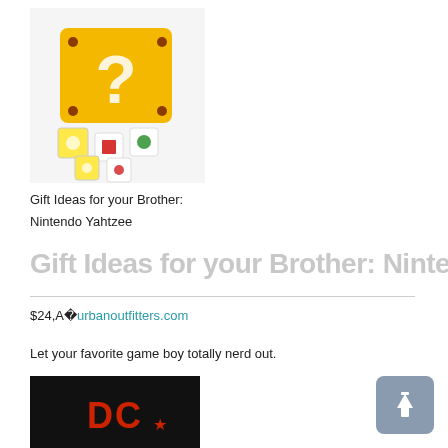[Figure (photo): Nintendo Yahtzee question mark block box with small character dice scattered in front, yellow cube with white question mark on white background]
Gift Ideas for your Brother:
Nintendo Yahtzee
Gift Ideas for your Brother: Ninte
$24,A�urbanoutfitters.com
Let your favorite game boy totally nerd out.
[Figure (photo): Man wearing a black t-shirt with a red DC brand logo]
[Figure (other): Blue-grey scroll to top button with upward arrow icon]